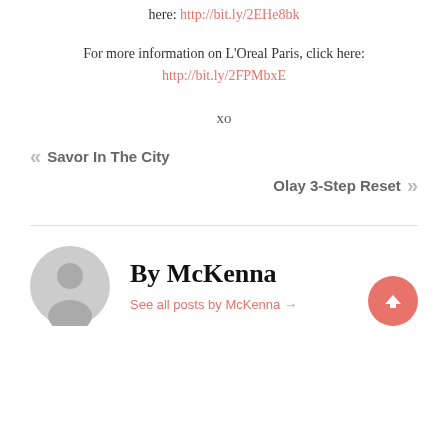here: http://bit.ly/2EHe8bk
For more information on L’Oreal Paris, click here:
http://bit.ly/2FPMbxE
xo
« Savor In The City
Olay 3-Step Reset »
By McKenna
See all posts by McKenna →